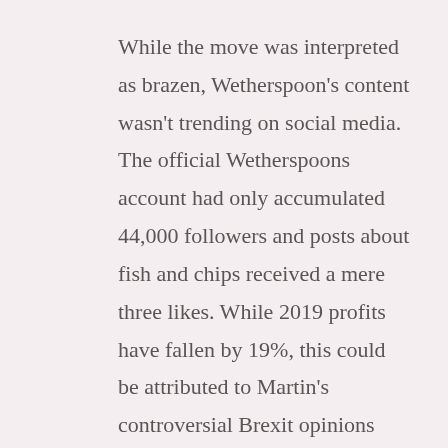While the move was interpreted as brazen, Wetherspoon's content wasn't trending on social media.  The official Wetherspoons account had only accumulated 44,000 followers and posts about fish and chips received a mere three likes. While 2019 profits have fallen by 19%, this could be attributed to Martin's controversial Brexit opinions and the growth of indie restaurants. Overall, Wetherspoons gained a great deal of press from the announcement and reminded many of the pub's existence. As a result, Wetherspoon's revenues rose by